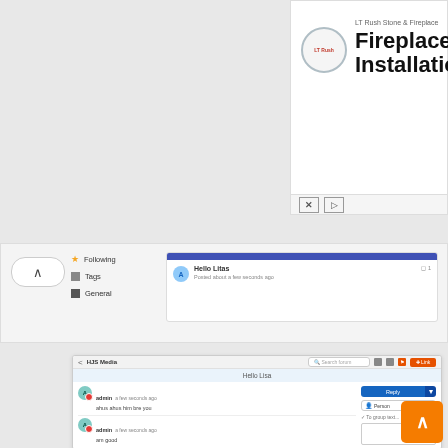[Figure (screenshot): Advertisement banner for LT Rush Stone & Fireplace showing logo and 'Fireplace Installation' heading with close and play buttons below]
[Figure (screenshot): Forum/community interface showing chevron-up button, sidebar navigation with Following, Tags, General items, and a post from user 'A' titled 'Hello Litas' with comment count]
[Figure (screenshot): HJS Media forum thread view showing 'Hello Lisa' channel, messages from admin user with text 'ahus ahus him bre you' and 'am good', reply panel with Reply button, Person selector, and 'Write a Reply' input at bottom. Orange back-to-top button in corner.]